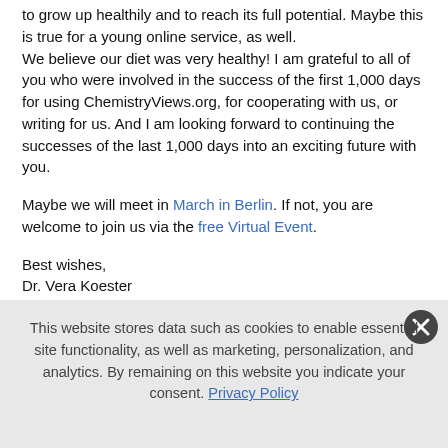to grow up healthily and to reach its full potential. Maybe this is true for a young online service, as well.
We believe our diet was very healthy! I am grateful to all of you who were involved in the success of the first 1,000 days for using ChemistryViews.org, for cooperating with us, or writing for us. And I am looking forward to continuing the successes of the last 1,000 days into an exciting future with you.
Maybe we will meet in March in Berlin. If not, you are welcome to join us via the free Virtual Event.
Best wishes,
Dr. Vera Koester
Editor-in-Chief
This website stores data such as cookies to enable essential site functionality, as well as marketing, personalization, and analytics. By remaining on this website you indicate your consent. Privacy Policy